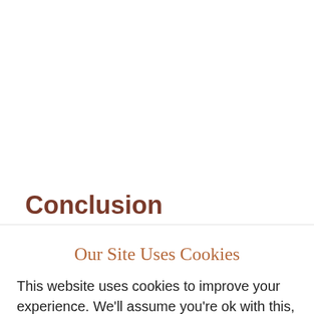Conclusion
Our Site Uses Cookies
This website uses cookies to improve your experience. We'll assume you're ok with this, but you can opt-out if you wish.
Cookie settings   ACCEPT